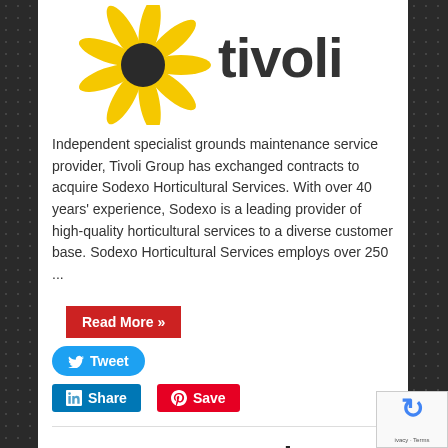[Figure (logo): Tivoli Group logo — yellow sunflower graphic and 'tivoli' wordmark in dark bold text]
Independent specialist grounds maintenance service provider, Tivoli Group has exchanged contracts to acquire Sodexo Horticultural Services. With over 40 years' experience, Sodexo is a leading provider of high-quality horticultural services to a diverse customer base. Sodexo Horticultural Services employs over 250 ...
Read More »
Tweet
Share   Save
Reconomy acquires Waste Source
[Figure (logo): reCAPTCHA badge with refresh icon, 'ivacy · Terms' text]